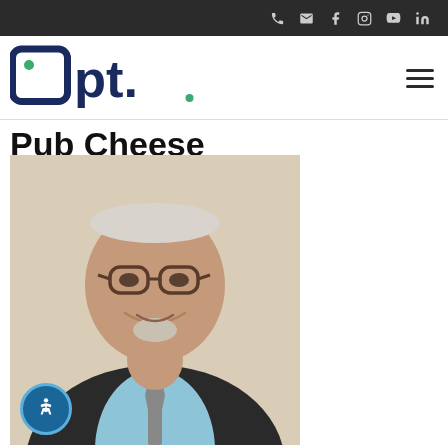Social media icons: phone, email, facebook, instagram, youtube, linkedin
[Figure (logo): Opt. company logo in dark navy blue with green dot accent]
Pub Cheese
[Figure (photo): Professional headshot of an older man with gray hair, glasses, a goatee, wearing a dark suit, light blue shirt and patterned tie, smiling, light beige background]